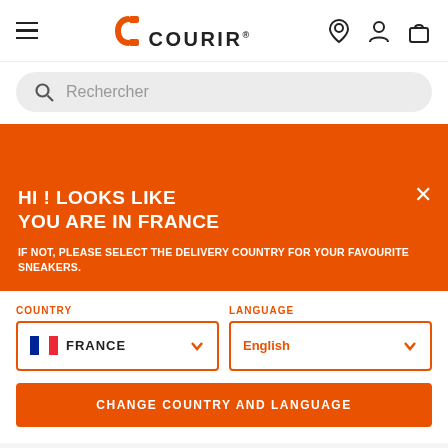[Figure (logo): Courir brand logo with orange C icon and COURIR text with registered trademark]
Rechercher
HI ! LOOKS LIKE YOU ARE IN FRANCE
IF NOT, PLEASE SELECT THE DELIVERY COUNTRY FOR YOUR FAVOURITE SNEAKERS.
COUNTRY
FRANCE
LANGUAGE
English
CHANGE COUNTRY AND LANGUAGE